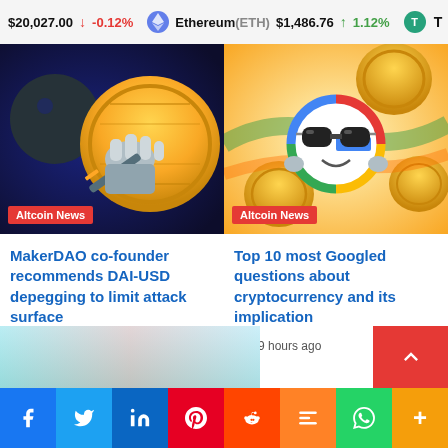$20,027.00 ↓ -0.12% Ethereum(ETH) $1,486.76 ↑ 1.12% T
[Figure (illustration): Cartoon robotic hand prying a gold coin with a screwdriver, dark background, Altcoin News badge]
[Figure (illustration): Google logo character with sunglasses surrounded by gold crypto coins, colorful background, Altcoin News badge]
MakerDAO co-founder recommends DAI-USD depegging to limit attack surface
4 hours ago
Top 10 most Googled questions about cryptocurrency and its implication
9 hours ago
[Figure (screenshot): Partially visible article thumbnail at bottom of page]
Facebook Twitter LinkedIn Pinterest Reddit Mix WhatsApp More